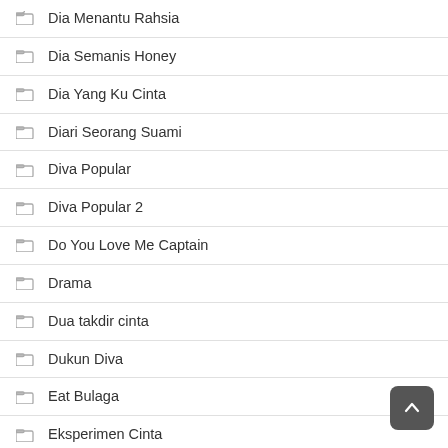Dia Menantu Rahsia
Dia Semanis Honey
Dia Yang Ku Cinta
Diari Seorang Suami
Diva Popular
Diva Popular 2
Do You Love Me Captain
Drama
Dua takdir cinta
Dukun Diva
Eat Bulaga
Eksperimen Cinta
Emil Emilda
Encik Imam Ekspres